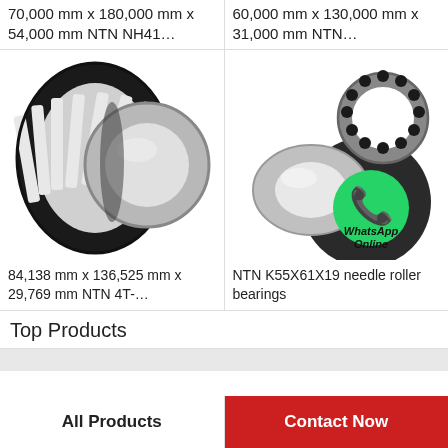70,000 mm x 180,000 mm x 54,000 mm NTN NH41…
60,000 mm x 130,000 mm x 31,000 mm NTN…
[Figure (photo): Needle roller bearing cage shown disassembled with inner ring and outer cage ring, black and silver metal parts.]
[Figure (photo): NTN K55X61X19 needle roller thrust bearing components with WhatsApp Online contact overlay icon.]
84,138 mm x 136,525 mm x 29,769 mm NTN 4T-…
NTN K55X61X19 needle roller bearings
Top Products
All Products
Contact Now